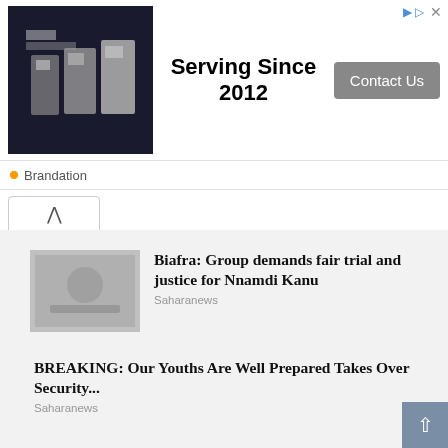[Figure (screenshot): Ad banner showing appliances image, 'Serving Since 2012' text and 'Contact Us' button]
Brandation
[Figure (other): Back/up chevron navigation button]
Biafra: Group demands fair trial and justice for Nnamdi Kanu
Saharanews
BREAKING: Our Youths Are Well Prepared Takes Over Security...
Saharanews
BREAKING: Why The Attack On Igbo Leaders Must Continue...
Saharanews